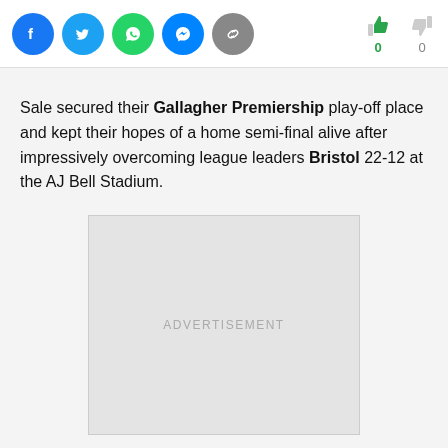[Figure (other): Social media sharing icons: Facebook (blue circle), Twitter (blue circle), WhatsApp (green circle), Messenger (blue circle), Link/chain (grey circle)]
[Figure (other): Vote/reaction icons: green thumbs-up with count 0, grey thumbs-down with count 0]
Sale secured their Gallagher Premiership play-off place and kept their hopes of a home semi-final alive after impressively overcoming league leaders Bristol 22-12 at the AJ Bell Stadium.
[Figure (other): Advertisement placeholder box with text ADVERTISEMENT]